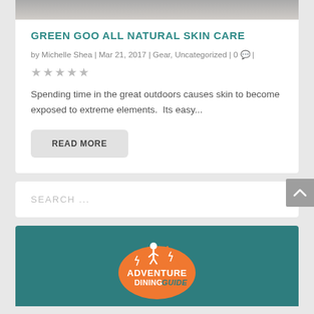[Figure (photo): Partial image visible at top of card, appears to show person outdoors with animal]
GREEN GOO ALL NATURAL SKIN CARE
by Michelle Shea | Mar 21, 2017 | Gear, Uncategorized | 0 💬 |
★★★★★ (empty stars rating)
Spending time in the great outdoors causes skin to become exposed to extreme elements.  Its easy...
READ MORE
SEARCH ...
[Figure (logo): Adventure Dining Guide logo — orange mountain/Australia shape with hiker icon, teal background]